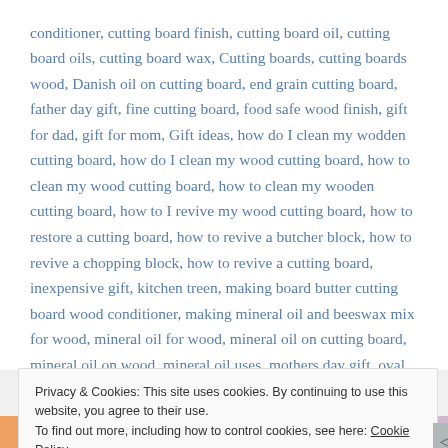conditioner, cutting board finish, cutting board oil, cutting board oils, cutting board wax, Cutting boards, cutting boards wood, Danish oil on cutting board, end grain cutting board, father day gift, fine cutting board, food safe wood finish, gift for dad, gift for mom, Gift ideas, how do I clean my wodden cutting board, how do I clean my wood cutting board, how to clean my wood cutting board, how to clean my wooden cutting board, how to I revive my wood cutting board, how to restore a cutting board, how to revive a butcher block, how to revive a chopping block, how to revive a cutting board, inexpensive gift, kitchen treen, making board butter cutting board wood conditioner, making mineral oil and beeswax mix for wood, mineral oil for wood, mineral oil on cutting board, mineral oil on wood, mineral oil uses, mothers day gift, oval cherry cutting boards, oval cutting boards, oval serving boards, oval
Privacy & Cookies: This site uses cookies. By continuing to use this website, you agree to their use.
To find out more, including how to control cookies, see here: Cookie Policy